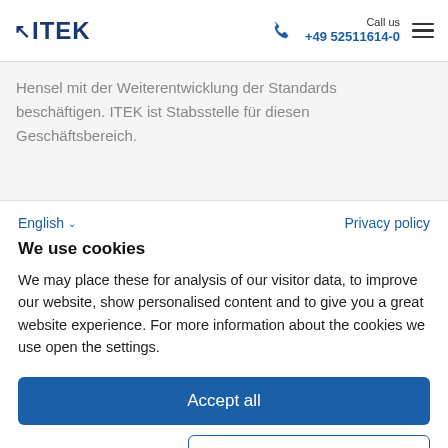ITEK | Call us +49 52511614-0
Hensel mit der Weiterentwicklung der Standards beschäftigen. ITEK ist Stabsstelle für diesen Geschäftsbereich.
English ∨   Privacy policy
We use cookies
We may place these for analysis of our visitor data, to improve our website, show personalised content and to give you a great website experience. For more information about the cookies we use open the settings.
Accept all
Deny   No, adjust